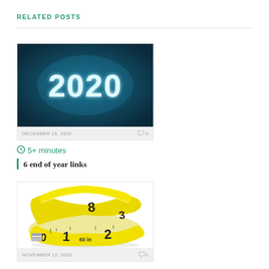RELATED POSTS
[Figure (photo): Dark teal background with glowing neon text '2020' in large bold white-blue letters]
DECEMBER 18, 2020   0
5+ minutes
6 end of year links
[Figure (photo): Yellow measuring tape coiled on a white background showing numbers 1, 2, 3, 8, 60]
NOVEMBER 12, 2020   0